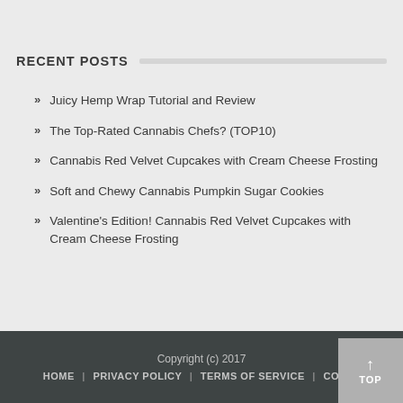RECENT POSTS
Juicy Hemp Wrap Tutorial and Review
The Top-Rated Cannabis Chefs? (TOP10)
Cannabis Red Velvet Cupcakes with Cream Cheese Frosting
Soft and Chewy Cannabis Pumpkin Sugar Cookies
Valentine's Edition! Cannabis Red Velvet Cupcakes with Cream Cheese Frosting
Copyright (c) 2017
HOME | PRIVACY POLICY | TERMS OF SERVICE | CONTA